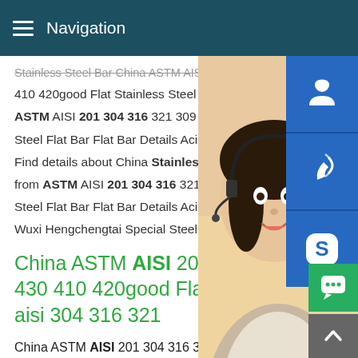Navigation
Stainless Steel Bar China ASTM AISI 201 v 410 420good Flat Stainless Steel Bar type ASTM AISI 201 304 316 321 309 310 430 Steel Flat Bar Flat Bar Details Acid Resistant Find details about China Stainless Steel H from ASTM AISI 201 304 316 321 309 310 Steel Flat Bar Flat Bar Details Acid Resistant Wuxi Hengchengtai Special Steel Co., Ltd
China ASTM AISI 201 304 316 430 410 420good Flat Stainless aisi 304 316 321
China ASTM AISI 201 304 316 321 309 310 430 410 420good Price Steel Flat Bar Flat Bar Details Acid Resistant Stainless Steel Bar, Find details about China Stainless Steel H Beam, Building Material from ASTM AISI 201 304 316 321 309 310 410 420good Price Steel Flat Bar Flat Bar Details Acid Resis...
[Figure (photo): Woman with headset, customer service representative, partially visible on right side of page]
[Figure (infographic): Three blue icon buttons on right side: headset/support icon, phone/call icon, Skype icon]